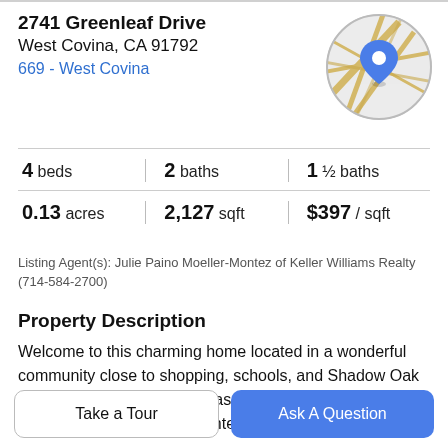2741 Greenleaf Drive
West Covina, CA 91792
669 - West Covina
[Figure (map): Circular map thumbnail showing street map with a blue location pin marker over West Covina, CA area.]
4 beds | 2 baths | 1 ½ baths
0.13 acres | 2,127 sqft | $397 / sqft
Listing Agent(s): Julie Paino Moeller-Montez of Keller Williams Realty (714-584-2700)
Property Description
Welcome to this charming home located in a wonderful community close to shopping, schools, and Shadow Oak park. This two story home has new plank flooring, updated kitchen, freshly painted inside, and all bathrooms are